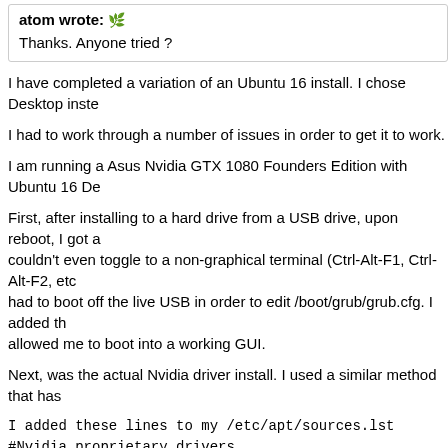atom wrote: [emoji]
Thanks. Anyone tried ?
I have completed a variation of an Ubuntu 16 install.  I chose Desktop inste...
I had to work through a number of issues in order to get it to work.
I am running a Asus Nvidia GTX 1080 Founders Edition with Ubuntu 16 De...
First, after installing to a hard drive from a USB drive, upon reboot, I got an... couldn't even toggle to a non-graphical terminal (Ctrl-Alt-F1, Ctrl-Alt-F2, etc... had to boot off the live USB in order to edit /boot/grub/grub.cfg.  I added th... allowed me to boot into a working GUI.
Next, was the actual Nvidia driver install.  I used a similar method that has...
I added these lines to my /etc/apt/sources.lst
#Nvidia proprietary drivers
deb http://ppa.launchpad.net/graphics-drivers/ppa/ubuntu xenial main
deb-src http://ppa.launchpad.net/graphics-drivers/ppa/ubuntu xenial main

sudo apt-get remove nvidia*

#switched to root
su -
apt-get update && apt-get upgrade
apt-get install --no-install-recommends nvidia-367 nvidia-opencl-icd-367
reboot